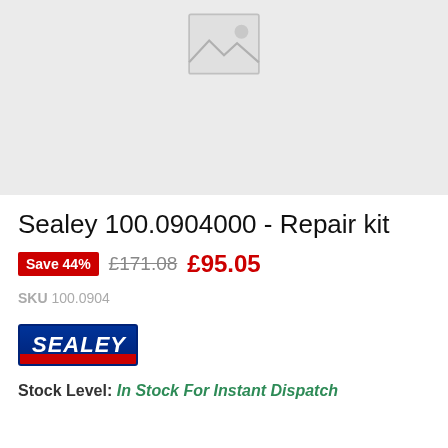[Figure (photo): Product image placeholder with grey background and broken image icon]
Sealey 100.0904000 - Repair kit
Save 44%  £171.08  £95.05
SKU 100.0904
[Figure (logo): Sealey brand logo — blue background with white italic bold text SEALEY and red bar at bottom]
Stock Level: In Stock For Instant Dispatch